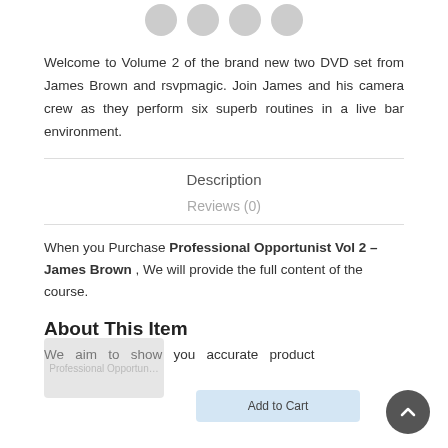[Figure (other): Four circular social media share icons (Facebook, Twitter, Pinterest, Email) in grey]
Welcome to Volume 2 of the brand new two DVD set from James Brown and rsvpmagic. Join James and his camera crew as they perform six superb routines in a live bar environment.
Description
Reviews (0)
When you Purchase Professional Opportunist Vol 2 – James Brown , We will provide the full content of the course.
About This Item
We aim to show you accurate product